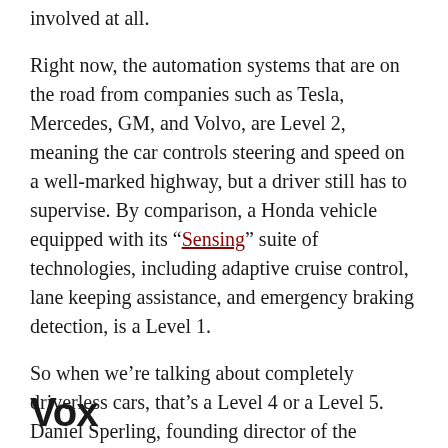involved at all.
Right now, the automation systems that are on the road from companies such as Tesla, Mercedes, GM, and Volvo, are Level 2, meaning the car controls steering and speed on a well-marked highway, but a driver still has to supervise. By comparison, a Honda vehicle equipped with its “Sensing” suite of technologies, including adaptive cruise control, lane keeping assistance, and emergency braking detection, is a Level 1.
So when we’re talking about completely driverless cars, that’s a Level 4 or a Level 5. Daniel Sperling, founding director of the Institute of Transportation
Vox